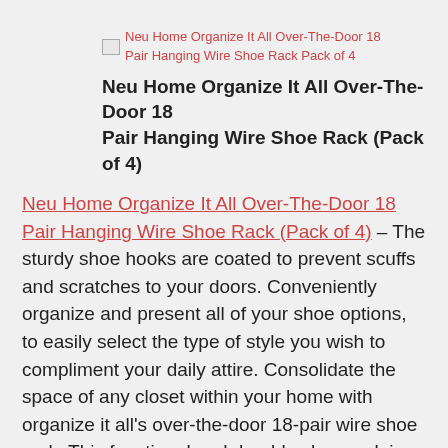[Figure (other): Broken image placeholder for Neu Home Organize It All Over-The-Door 18 Pair Hanging Wire Shoe Rack Pack of 4, shown as a link in salmon/red color]
Neu Home Organize It All Over-The-Door 18 Pair Hanging Wire Shoe Rack (Pack of 4)
Neu Home Organize It All Over-The-Door 18 Pair Hanging Wire Shoe Rack (Pack of 4) - The sturdy shoe hooks are coated to prevent scuffs and scratches to your doors. Conveniently organize and present all of your shoe options, to easily select the type of style you wish to compliment your daily attire. Consolidate the space of any closet within your home with organize it all's over-the-door 18-pair wire shoe rack. This functional and durable shoe rack is constructed of plastic and metal and is simple to assemble as no tools are required. This versatile and dependable